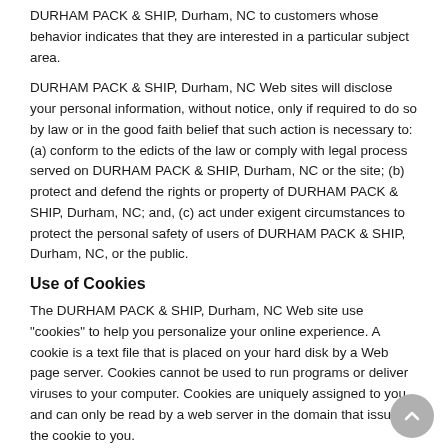DURHAM PACK & SHIP, Durham, NC to customers whose behavior indicates that they are interested in a particular subject area.
DURHAM PACK & SHIP, Durham, NC Web sites will disclose your personal information, without notice, only if required to do so by law or in the good faith belief that such action is necessary to: (a) conform to the edicts of the law or comply with legal process served on DURHAM PACK & SHIP, Durham, NC or the site; (b) protect and defend the rights or property of DURHAM PACK & SHIP, Durham, NC; and, (c) act under exigent circumstances to protect the personal safety of users of DURHAM PACK & SHIP, Durham, NC, or the public.
Use of Cookies
The DURHAM PACK & SHIP, Durham, NC Web site use "cookies" to help you personalize your online experience. A cookie is a text file that is placed on your hard disk by a Web page server. Cookies cannot be used to run programs or deliver viruses to your computer. Cookies are uniquely assigned to you, and can only be read by a web server in the domain that issued the cookie to you.
One of the primary purposes of cookies is to provide a convenience feature to save you time. The purpose of a